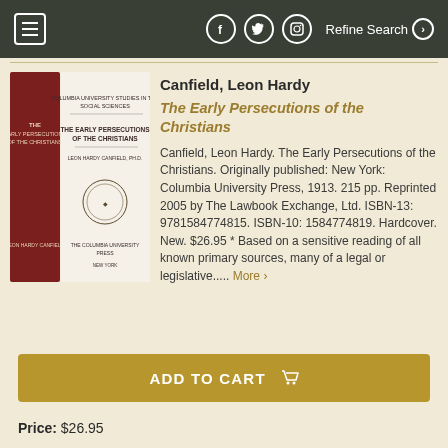Refine Search
Canfield, Leon Hardy
The Early Persecutions of the Christians
Canfield, Leon Hardy. The Early Persecutions of the Christians. Originally published: New York: Columbia University Press, 1913. 215 pp. Reprinted 2005 by The Lawbook Exchange, Ltd. ISBN-13: 9781584774815. ISBN-10: 1584774819. Hardcover. New. $26.95 * Based on a sensitive reading of all known primary sources, many of a legal or legislative..... More >
ADD TO CART
Price: $26.95